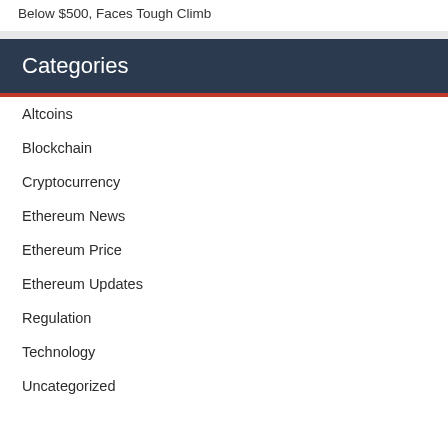Below $500, Faces Tough Climb
Categories
Altcoins
Blockchain
Cryptocurrency
Ethereum News
Ethereum Price
Ethereum Updates
Regulation
Technology
Uncategorized